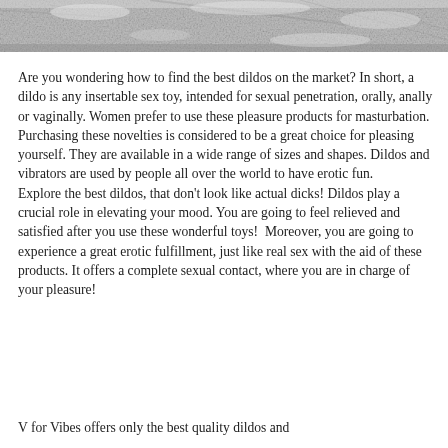[Figure (photo): Partial photo at top of page showing a rocky or textured outdoor surface in black and white/grayscale]
Are you wondering how to find the best dildos on the market? In short, a dildo is any insertable sex toy, intended for sexual penetration, orally, anally or vaginally. Women prefer to use these pleasure products for masturbation. Purchasing these novelties is considered to be a great choice for pleasing yourself. They are available in a wide range of sizes and shapes. Dildos and vibrators are used by people all over the world to have erotic fun.
Explore the best dildos, that don't look like actual dicks! Dildos play a crucial role in elevating your mood. You are going to feel relieved and satisfied after you use these wonderful toys!  Moreover, you are going to experience a great erotic fulfillment, just like real sex with the aid of these products. It offers a complete sexual contact, where you are in charge of your pleasure!
V for Vibes offers only the best quality dildos and